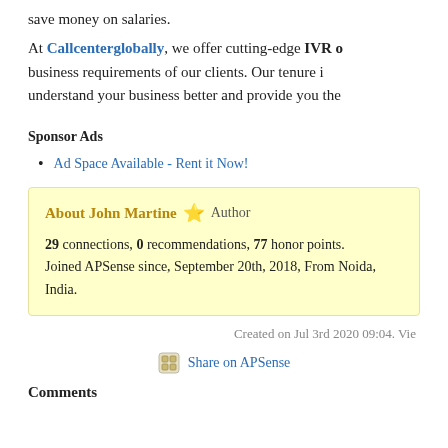save money on salaries.
At Callcenterglobally, we offer cutting-edge IVR o business requirements of our clients. Our tenure i understand your business better and provide you the
Sponsor Ads
Ad Space Available - Rent it Now!
About John Martine ★ Author
29 connections, 0 recommendations, 77 honor points.
Joined APSense since, September 20th, 2018, From Noida, India.
Created on Jul 3rd 2020 09:04. Vie
Share on APSense
Comments